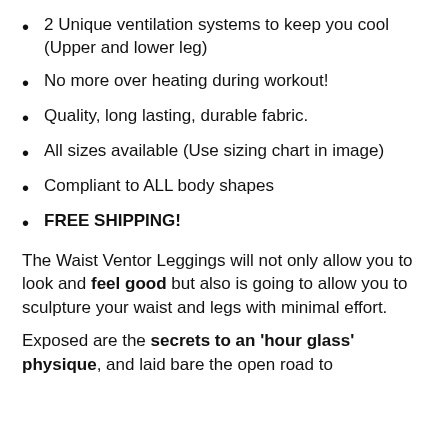2 Unique ventilation systems to keep you cool (Upper and lower leg)
No more over heating during workout!
Quality, long lasting, durable fabric.
All sizes available (Use sizing chart in image)
Compliant to ALL body shapes
FREE SHIPPING!
The Waist Ventor Leggings will not only allow you to look and feel good but also is going to allow you to sculpture your waist and legs with minimal effort.
Exposed are the secrets to an 'hour glass' physique, and laid bare the open road to